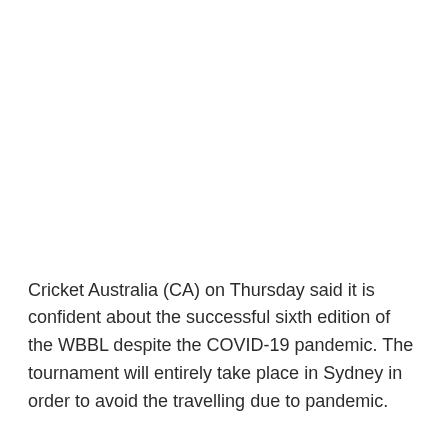Cricket Australia (CA) on Thursday said it is confident about the successful sixth edition of the WBBL despite the COVID-19 pandemic. The tournament will entirely take place in Sydney in order to avoid the travelling due to pandemic.